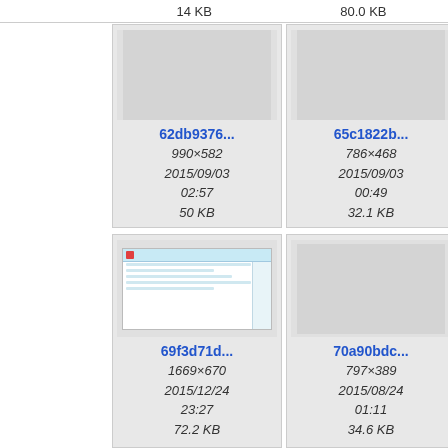14 KB  |  80.0 KB
[Figure (screenshot): Thumbnail grid showing image files. Row 1: 62db9376... (990×582, 2015/09/03 02:57, 50 KB), 65c1822b... (786×468, 2015/09/03 00:49, 32.1 KB), partial 66... Row 2: 69f3d71d... (1669×670, 2015/12/24 23:27, 72.2 KB) with screenshot thumbnail, 70a90bdc... (797×389, 2015/08/24 01:11, 34.6 KB), partial 90...]